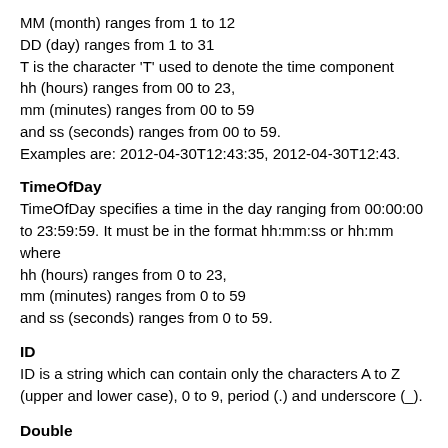MM (month) ranges from 1 to 12
DD (day) ranges from 1 to 31
T is the character 'T' used to denote the time component
hh (hours) ranges from 00 to 23,
mm (minutes) ranges from 00 to 59
and ss (seconds) ranges from 00 to 59.
Examples are: 2012-04-30T12:43:35, 2012-04-30T12:43.
TimeOfDay
TimeOfDay specifies a time in the day ranging from 00:00:00 to 23:59:59. It must be in the format hh:mm:ss or hh:mm where
hh (hours) ranges from 0 to 23,
mm (minutes) ranges from 0 to 59
and ss (seconds) ranges from 0 to 59.
ID
ID is a string which can contain only the characters A to Z (upper and lower case), 0 to 9, period (.) and underscore (_).
Double